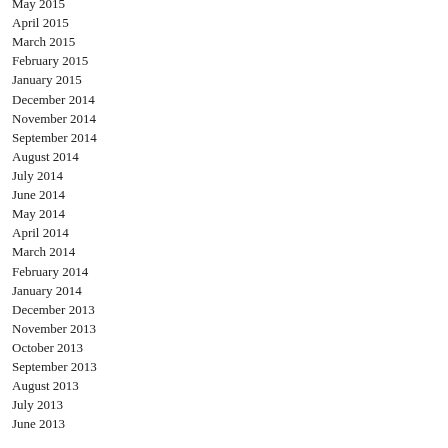May 2015
April 2015
March 2015
February 2015
January 2015
December 2014
November 2014
September 2014
August 2014
July 2014
June 2014
May 2014
April 2014
March 2014
February 2014
January 2014
December 2013
November 2013
October 2013
September 2013
August 2013
July 2013
June 2013